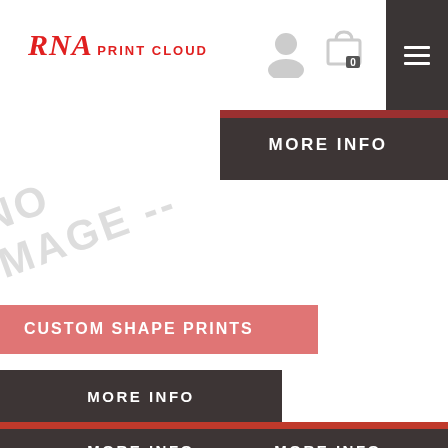RNA PRINT CLOUD
[Figure (screenshot): MORE INFO button top right, dark grey background]
[Figure (illustration): NO IMAGE watermark text displayed diagonally across the product area]
CUSTOM SHAPE PRINTS
MORE INFO
MORE INFO
MORE INFO
MORE INFO